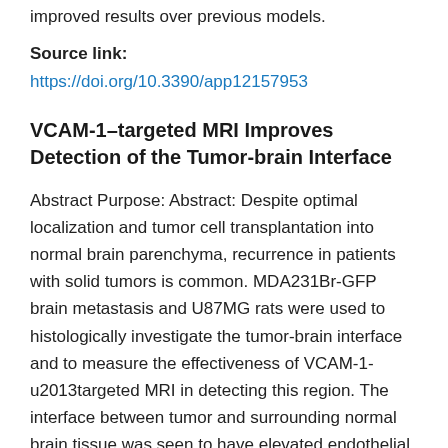improved results over previous models.
Source link:
https://doi.org/10.3390/app12157953
VCAM-1–targeted MRI Improves Detection of the Tumor-brain Interface
Abstract Purpose: Abstract: Despite optimal localization and tumor cell transplantation into normal brain parenchyma, recurrence in patients with solid tumors is common. MDA231Br-GFP brain metastasis and U87MG rats were used to histologically investigate the tumor-brain interface and to measure the effectiveness of VCAM-1-u2013targeted MRI in detecting this region. The interface between tumor and surrounding normal brain tissue was seen to have elevated endothelial VCAM-1 expression and